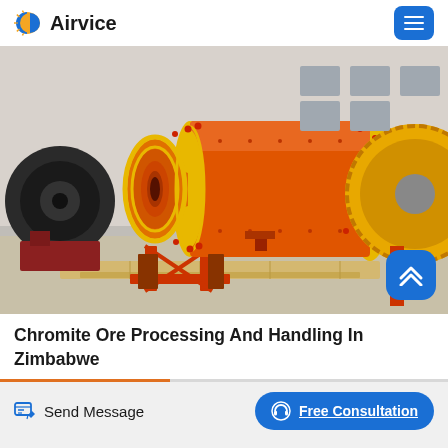Airvice
[Figure (photo): Large industrial orange and yellow ball mill / grinding machine on a stand in a factory yard, with other heavy machinery in background]
Chromite Ore Processing And Handling In Zimbabwe
Send Message
Free Consultation